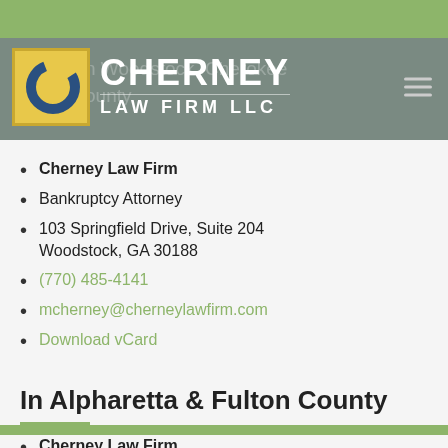[Figure (logo): Cherney Law Firm LLC logo with stylized C letter in gold/yellow box and white firm name text on gray background]
Cherney Law Firm
Bankruptcy Attorney
103 Springfield Drive, Suite 204 Woodstock, GA 30188
(770) 485-4141
mcherney@cherneylawfirm.com
Download vCard
In Alpharetta & Fulton County
Cherney Law Firm